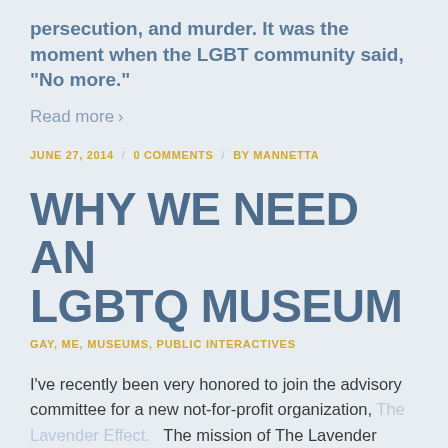persecution, and murder. It was the moment when the LGBT community said, “No more.”
Read more ›
JUNE 27, 2014  /  0 COMMENTS  /  BY MANNETTA
WHY WE NEED AN LGBTQ MUSEUM
GAY, ME, MUSEUMS, PUBLIC INTERACTIVES
I’ve recently been very honored to join the advisory committee for a new not-for-profit organization, The Lavender Effect.   The mission of The Lavender Effect is “to celebrate our heritage and inspire future